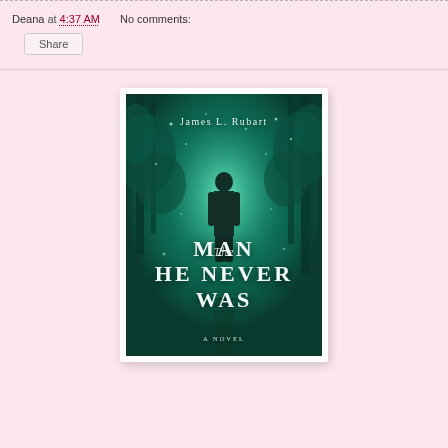Deana at 4:37 AM   No comments:
Share
[Figure (photo): Book cover of 'The Man He Never Was' by James L. Rubart — dark teal/green forest background with silhouette of a standing man, white serif title text, reflection below, subtitle 'A Novel']